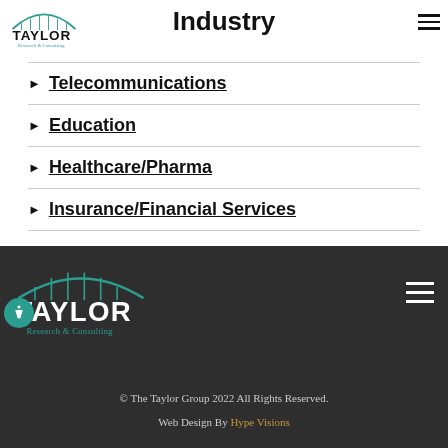Taylor Research & Consulting logo + Industry heading
Industry
Telecommunications
Education
Healthcare/Pharma
Insurance/Financial Services
Taylor Research & Consulting footer. © The Taylor Group 2022 All Rights Reserved. Web Design By Hype Visions